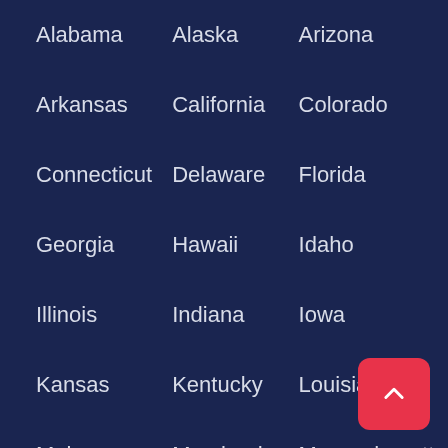Alabama
Alaska
Arizona
Arkansas
California
Colorado
Connecticut
Delaware
Florida
Georgia
Hawaii
Idaho
Illinois
Indiana
Iowa
Kansas
Kentucky
Louisiana
Maine
Maryland
Massachusetts
Michigan
Minnesota
Mississippi
Missouri
Montana
Nebraska
Nevada
New Hampshire
New Jersey